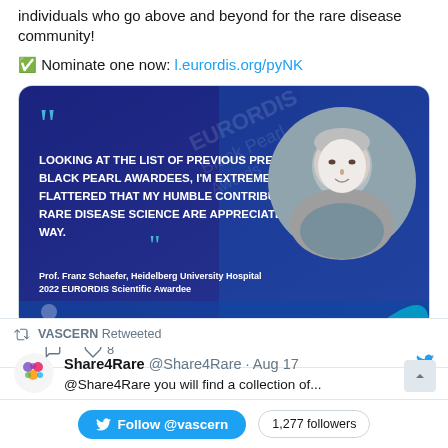EURORDIS wishes to acknowledge those individuals who go above and beyond for the rare disease community!
✅Nominate one now: l.eurordis.org/pyNK
[Figure (screenshot): Blue promotional card with white text quote: LOOKING AT THE LIST OF PREVIOUS PRESTIGIOUS BLACK PEARL AWARDEES, I'M EXTREMELY FLATTERED THAT MY HUMBLE CONTRIBUTIONS TO RARE DISEASE SCIENCE ARE APPRECIATED IN THIS WAY. Attributed to Prof. Franz Schaefer, Heidelberg University Hospital, 2022 EURORDIS Scientific Awardee. Circular photo of a grey-haired man on the right.]
8 likes
VASCERN Retweeted
Share4Rare @Share4Rare · Aug 17
@Share4Rare you will find a collection of...